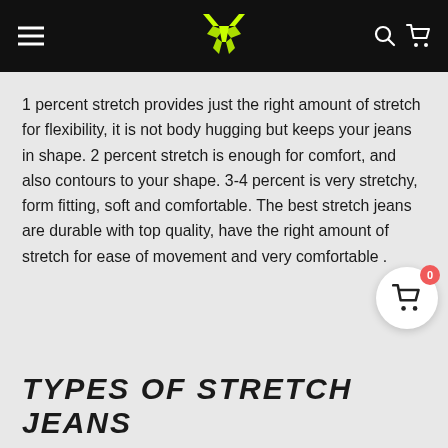[Figure (logo): Black navigation header with hamburger menu, yellow winged logo, search and cart icons]
1 percent stretch provides just the right amount of stretch for flexibility, it is not body hugging but keeps your jeans in shape. 2 percent stretch is enough for comfort, and also contours to your shape. 3-4 percent is very stretchy, form fitting, soft and comfortable. The best stretch jeans are durable with top quality, have the right amount of stretch for ease of movement and very comfortable .
TYPES OF STRETCH JEANS